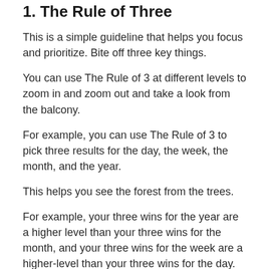1. The Rule of Three
This is a simple guideline that helps you focus and prioritize. Bite off three key things.
You can use The Rule of 3 at different levels to zoom in and zoom out and take a look from the balcony.
For example, you can use The Rule of 3 to pick three results for the day, the week, the month, and the year.
This helps you see the forest from the trees.
For example, your three wins for the year are a higher level than your three wins for the month, and your three wins for the week are a higher-level than your three wins for the day.
2. Monday Vision, Daily